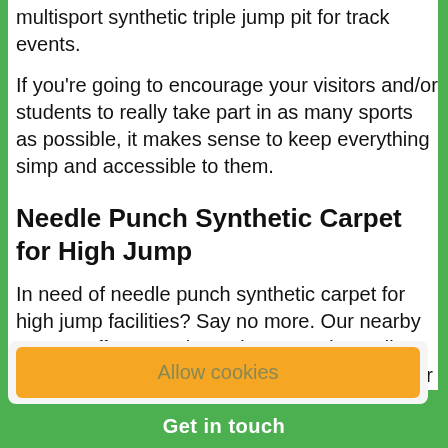multisport synthetic triple jump pit for track events.
If you're going to encourage your visitors and/or students to really take part in as many sports as possible, it makes sense to keep everything simple and accessible to them.
Needle Punch Synthetic Carpet for High Jump
In need of needle punch synthetic carpet for high jump facilities? Say no more. Our nearby team will offer you a bespoke quote depending on the facilities you need and how much labour will be required. Therefore, we always encourage you to get in touch so that we can build you a brilliant f...
Allow cookies